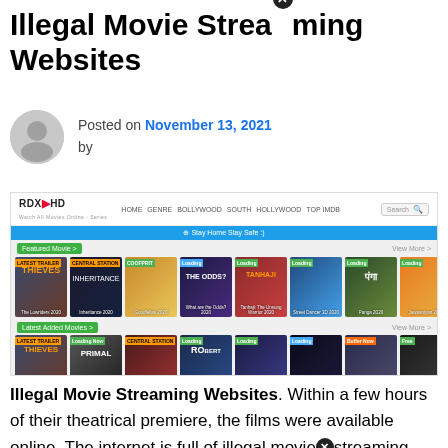Illegal Movie Streaming Websites
Posted on November 13, 2021 by
[Figure (screenshot): Screenshot of RDX HD illegal movie streaming website showing featured movies and latest added movies sections with multiple film thumbnails]
Illegal Movie Streaming Websites. Within a few hours of their theatrical premiere, the films were available online. The internet is full of illegal movie streaming sites, so it's a must